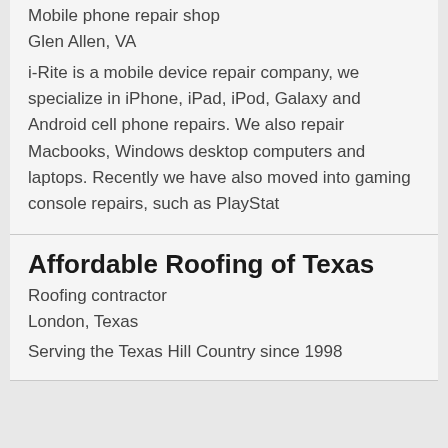Mobile phone repair shop
Glen Allen, VA
i-Rite is a mobile device repair company, we specialize in iPhone, iPad, iPod, Galaxy and Android cell phone repairs. We also repair Macbooks, Windows desktop computers and laptops. Recently we have also moved into gaming console repairs, such as PlayStat
Affordable Roofing of Texas
Roofing contractor
London, Texas
Serving the Texas Hill Country since 1998